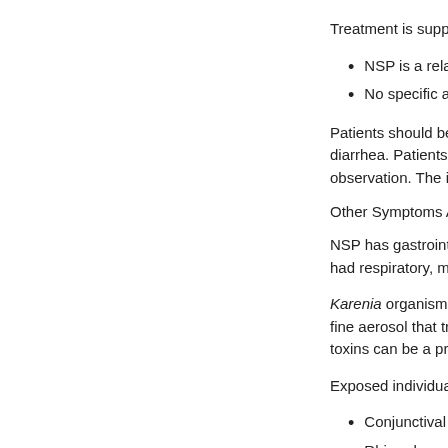Treatment is supportive.
NSP is a relative
No specific antit
Patients should be monitored for diarrhea. Patients who had respiratory, muco observation. The illne
Other Symptoms Asso
NSP has gastrointesti had respiratory, muco
Karenia organisms rel fine aerosol that trave toxins can be a proble
Exposed individuals f
Conjunctival irrit
Rhinorrhea